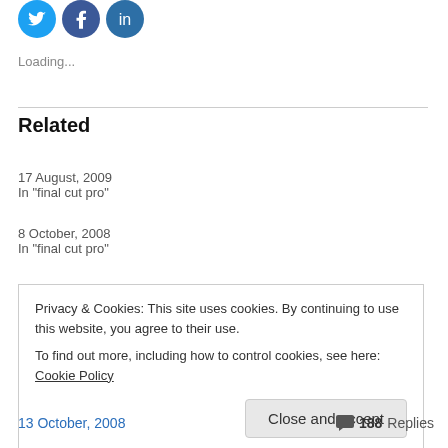[Figure (illustration): Three circular social media sharing buttons (Twitter, Facebook, another blue platform) arranged horizontally]
Loading...
Related
Final Cut plugin: Text crawl
17 August, 2009
In "final cut pro"
Final Cut Pro: Free plugins to make all fonts available
8 October, 2008
In "final cut pro"
Privacy & Cookies: This site uses cookies. By continuing to use this website, you agree to their use.
To find out more, including how to control cookies, see here: Cookie Policy
Close and accept
13 October, 2008
💬 188 Replies